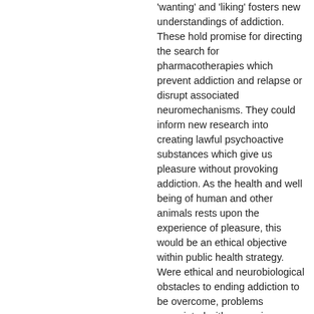'wanting' and 'liking' fosters new understandings of addiction. These hold promise for directing the search for pharmacotherapies which prevent addiction and relapse or disrupt associated neuromechanisms. They could inform new research into creating lawful psychoactive substances which give us pleasure without provoking addiction. As the health and well being of human and other animals rests upon the experience of pleasure, this would be an ethical objective within public health strategy. Were ethical and neurobiological obstacles to ending addiction to be overcome, problems associated with excessive consumption, the lure of unlawful psychoactive substances and the paucity of lawful means to achieve pleasurable altered states would remain. Non-addictive designer